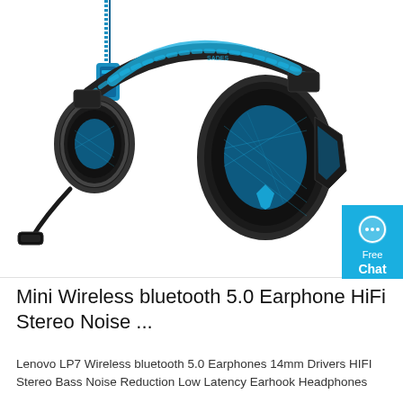[Figure (photo): Black and blue gaming headset with detachable microphone arm, blue braided cable with inline remote, and blue mesh ear cups with padded ear cushions. A 'Free Chat' button badge appears in the top-right corner.]
Mini Wireless bluetooth 5.0 Earphone HiFi Stereo Noise ...
Lenovo LP7 Wireless bluetooth 5.0 Earphones 14mm Drivers HIFI Stereo Bass Noise Reduction Low Latency Earhook Headphones